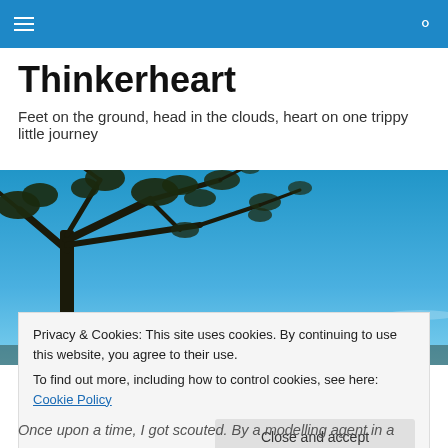Thinkerheart — navigation bar with hamburger menu and search icon
Thinkerheart
Feet on the ground, head in the clouds, heart on one trippy little journey
[Figure (photo): Tree silhouette against a bright blue sky with light clouds]
Privacy & Cookies: This site uses cookies. By continuing to use this website, you agree to their use.
To find out more, including how to control cookies, see here: Cookie Policy
Close and accept
Once upon a time, I got scouted. By a modelling agent in a